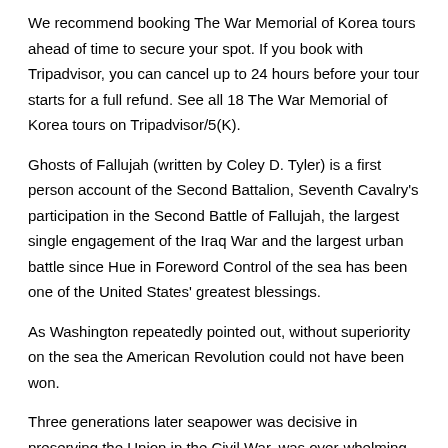We recommend booking The War Memorial of Korea tours ahead of time to secure your spot. If you book with Tripadvisor, you can cancel up to 24 hours before your tour starts for a full refund. See all 18 The War Memorial of Korea tours on Tripadvisor/5(K).
Ghosts of Fallujah (written by Coley D. Tyler) is a first person account of the Second Battalion, Seventh Cavalry's participation in the Second Battle of Fallujah, the largest single engagement of the Iraq War and the largest urban battle since Hue in Foreword Control of the sea has been one of the United States' greatest blessings.
As Washington repeatedly pointed out, without superiority on the sea the American Revolution could not have been won.
Three generations later seapower was decisive in preserving the Union in the Civil War, was over-whelming at sea, fundamental to victory ashore. In the twentieth century it has been indispensable. The Hansol Paper Museum founded in was Korea's first museum specializing in paper and dedicated to collecting, researching and preserving diverse arts, crafts and books made of paper.